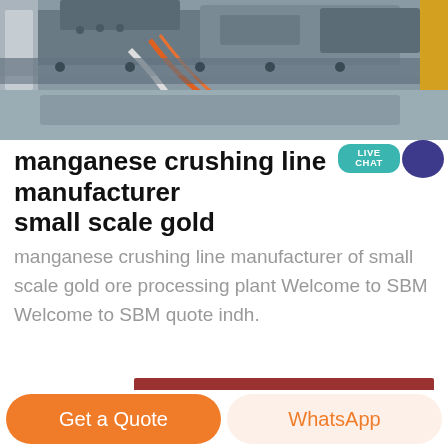[Figure (photo): Industrial machinery overhead view showing metal conveyor/processing equipment with orange cables/hoses, gray metallic structures]
manganese crushing line manufacturer small scale gold
manganese crushing line manufacturer of small scale gold ore processing plant Welcome to SBM Welcome to SBM quote indh.
[Figure (photo): Industrial processing plant interior showing a large dark blue cylindrical machine (crusher/mill) with orange ring detail, inside a building with steel roof trusses]
Get Price
Get a Quote
WhatsApp